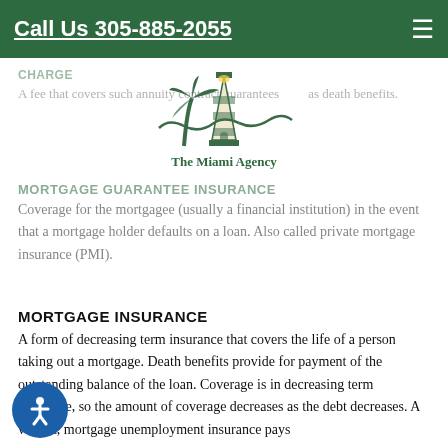Call Us 305-885-2055
[Figure (logo): The Miami Agency logo with lighthouse and palm tree]
CHARGE
A fee that covers such annuity contract guarantees as death benefits.
MORTGAGE GUARANTEE INSURANCE
Coverage for the mortgagee (usually a financial institution) in the event that a mortgage holder defaults on a loan. Also called private mortgage insurance (PMI).
MORTGAGE INSURANCE
A form of decreasing term insurance that covers the life of a person taking out a mortgage. Death benefits provide for payment of the outstanding balance of the loan. Coverage is in decreasing term insurance, so the amount of coverage decreases as the debt decreases. A variant, mortgage unemployment insurance pays